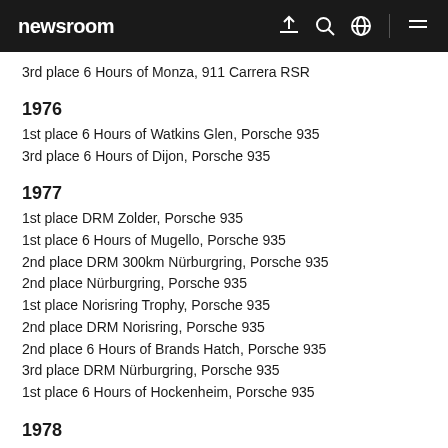newsroom
3rd place 6 Hours of Monza, 911 Carrera RSR
1976
1st place 6 Hours of Watkins Glen, Porsche 935
3rd place 6 Hours of Dijon, Porsche 935
1977
1st place DRM Zolder, Porsche 935
1st place 6 Hours of Mugello, Porsche 935
2nd place DRM 300km Nürburgring, Porsche 935
2nd place Nürburgring, Porsche 935
1st place Norisring Trophy, Porsche 935
2nd place DRM Norisring, Porsche 935
2nd place 6 Hours of Brands Hatch, Porsche 935
3rd place DRM Nürburgring, Porsche 935
1st place 6 Hours of Hockenheim, Porsche 935
1978